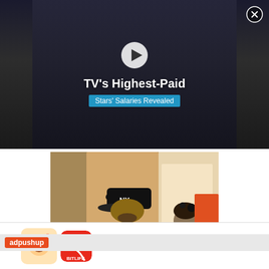[Figure (screenshot): Video thumbnail showing TV's Highest-Paid Stars' Salaries Revealed with play button overlay on dark background]
[Figure (photo): Celebrity couple photo: man in NY Yankees cap, sunglasses, black and white varsity jacket over white tuxedo; woman in silver strapless gown]
[Figure (screenshot): adpushup ad network brand bar]
[Figure (screenshot): BitLife - Life Simulator app advertisement with Install button]